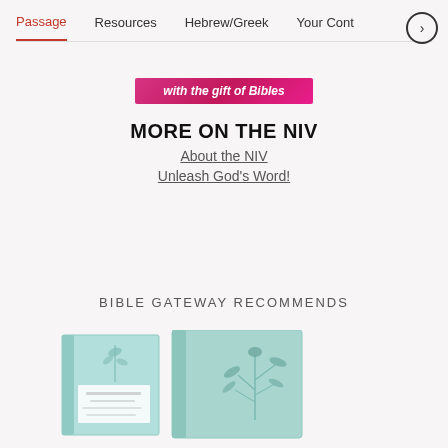Passage  Resources  Hebrew/Greek  Your Cont…
[Figure (illustration): Pink/magenta banner with italic bold white text: 'with the gift of Bibles']
MORE ON THE NIV
About the NIV
Unleash God's Word!
BIBLE GATEWAY RECOMMENDS
[Figure (photo): Two mint/sage green Bible books side by side — one shorter paperback and one hardcover with botanical illustration on cover]